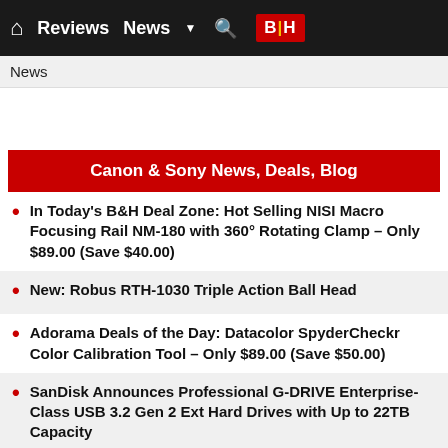Reviews  News  ▼  🔍  B|H
News
Canon & Sony News, Deals, Blog
In Today's B&H Deal Zone: Hot Selling NISI Macro Focusing Rail NM-180 with 360° Rotating Clamp – Only $89.00 (Save $40.00)
New: Robus RTH-1030 Triple Action Ball Head
Adorama Deals of the Day: Datacolor SpyderCheckr Color Calibration Tool – Only $89.00 (Save $50.00)
SanDisk Announces Professional G-DRIVE Enterprise-Class USB 3.2 Gen 2 Ext Hard Drives with Up to 22TB Capacity
Canon RF 28-70mm F2 L USM Lens Back In Stock at Adorama
Updated List of Drones Used Gear for Sale for Aug 2022